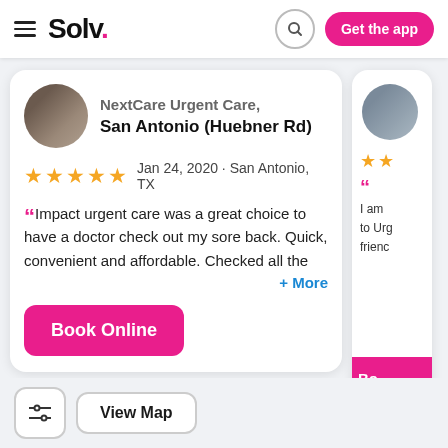Solv. [hamburger menu] [search icon] Get the app
[Figure (screenshot): Circular clinic photo thumbnail showing interior waiting room]
NextCare Urgent Care, San Antonio (Huebner Rd)
★★★★★  Jan 24, 2020 · San Antonio, TX
“Impact urgent care was a great choice to have a doctor check out my sore back. Quick, convenient and affordable. Checked all the
+ More
Book Online
[Figure (screenshot): Partial second card showing clinic image, 2 stars, and partial review text starting with 'I am' and 'to Urg' and 'frienc', with partial Book Online button]
View Map